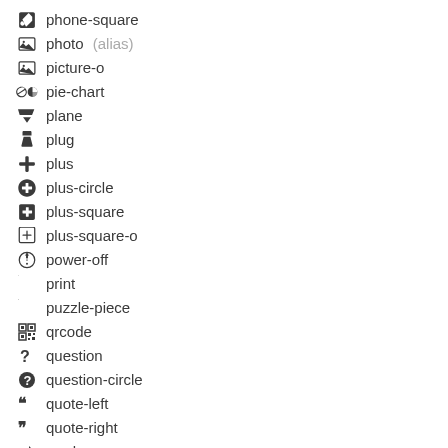phone-square
photo (alias)
picture-o
pie-chart
plane
plug
plus
plus-circle
plus-square
plus-square-o
power-off
print
puzzle-piece
qrcode
question
question-circle
quote-left
quote-right
random